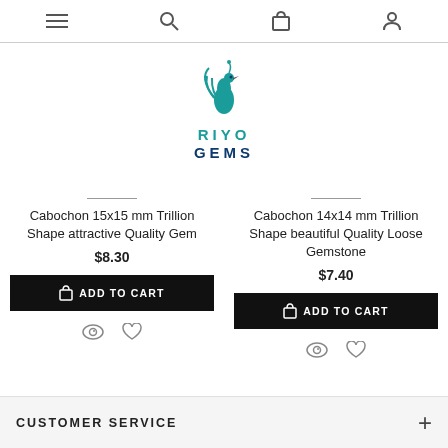[Figure (screenshot): Website navigation bar with hamburger menu, search, cart, and account icons]
[Figure (logo): Riyo Gems logo with teal peacock illustration and text RIYO GEMS]
Cabochon 15x15 mm Trillion Shape attractive Quality Gem
$8.30
ADD TO CART
Cabochon 14x14 mm Trillion Shape beautiful Quality Loose Gemstone
$7.40
ADD TO CART
CUSTOMER SERVICE